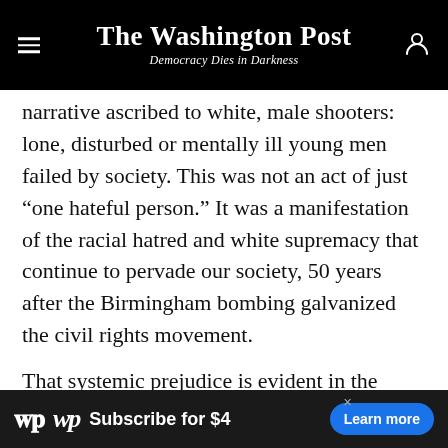The Washington Post — Democracy Dies in Darkness
narrative ascribed to white, male shooters: lone, disturbed or mentally ill young men failed by society. This was not an act of just “one hateful person.” It was a manifestation of the racial hatred and white supremacy that continue to pervade our society, 50 years after the Birmingham bombing galvanized the civil rights movement.
That systemic prejudice is evident in the Confederate flag that remains at the statehouse because white “tradition” is more important than a history of racial terrorism against black people. It is evident in the assault rifles that white “patriots” were able to carry...
[Figure (other): Washington Post subscription advertisement banner: WP logo, 'Subscribe for $4', 'Learn more' button]